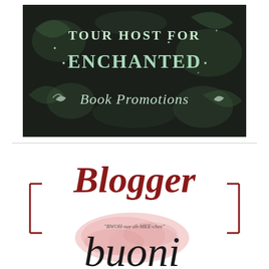[Figure (logo): Tour Host for Enchanted Book Promotions banner — dark floral background with decorative fantasy lettering in mint/white reading 'TOUR HOST FOR ENCHANTED Book Promotions']
[Figure (logo): Blogger badge with dark red decorative bracket frame, large italic dark red 'Blogger' text, pink watercolor splash, and cursive black text 'buoni' with pronunciation guide 'BWOH-nee ah-MEE-chee']